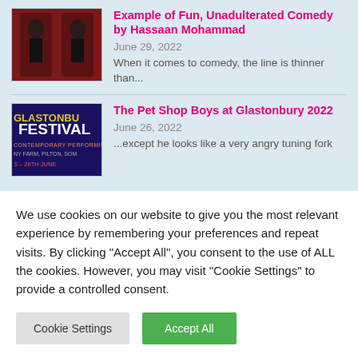Example of Fun, Unadulterated Comedy by Hassaan Mohammad
June 29, 2022
When it comes to comedy, the line is thinner than...
The Pet Shop Boys at Glastonbury 2022
June 26, 2022
...except he looks like a very angry tuning fork
We use cookies on our website to give you the most relevant experience by remembering your preferences and repeat visits. By clicking "Accept All", you consent to the use of ALL the cookies. However, you may visit "Cookie Settings" to provide a controlled consent.